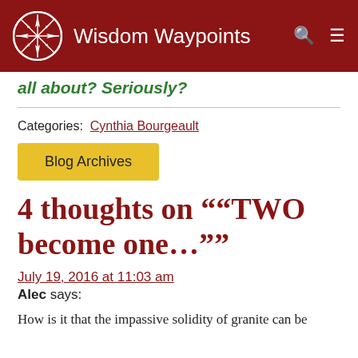Wisdom Waypoints
all about? Seriously?
Categories: Cynthia Bourgeault
Blog Archives
4 thoughts on "“TWO become one…”"
July 19, 2016 at 11:03 am
Alec says:
How is it that the impassive solidity of granite can be